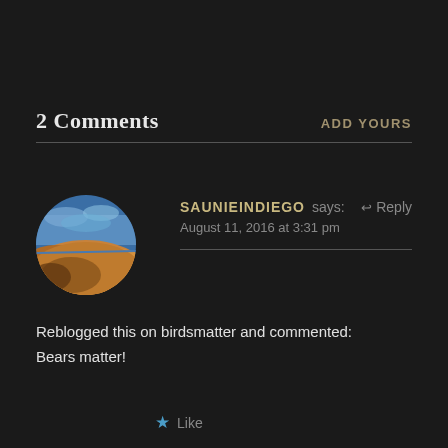2 Comments
ADD YOURS
SAUNIEINDIEGO says: August 11, 2016 at 3:31 pm
Reblogged this on birdsmatter and commented:
Bears matter!
Like